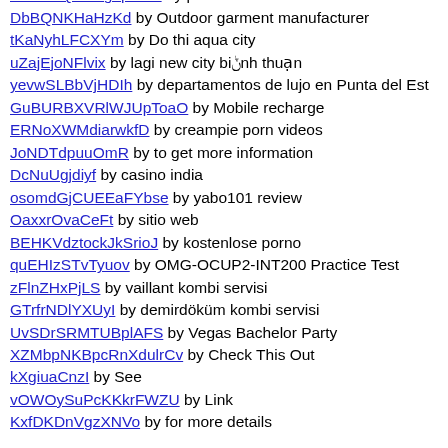WTZjuinSego... by wholesale athletic apparel distributor
MIHsWQClnsgepbrdA by private label active-wear manufacturer
DbBQNKHaHzKd by Outdoor garment manufacturer
tKaNyhLFCXYm by Do thi aqua city
uZajEjoNFlvix by lagi new city bình thuận
yevwSLBbVjHDIh by departamentos de lujo en Punta del Est
GuBURBXVRlWJUpToaO by Mobile recharge
ERNoXWMdiarwkfD by creampie porn videos
JoNDTdpuuOmR by to get more information
DcNuUgjdiyf by casino india
osomdGjCUEEaFYbse by yabo101 review
OaxxrOvaCeFt by sitio web
BEHKVdztockJkSrioJ by kostenlose porno
quEHIzSTvTyuov by OMG-OCUP2-INT200 Practice Test
zFlnZHxPjLS by vaillant kombi servisi
GTrfrNDlYXUyI by demirdöküm kombi servisi
UvSDrSRMTUBplAFS by Vegas Bachelor Party
XZMbpNKBpcRnXdulrCv by Check This Out
kXgiuaCnzI by See
vOWOySuPcKKkrFWZU by Link
KxfDKDnVgzXNVo by for more details